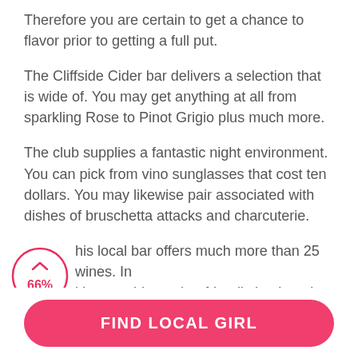Therefore you are certain to get a chance to flavor prior to getting a full put.
The Cliffside Cider bar delivers a selection that is wide of. You may get anything at all from sparkling Rose to Pinot Grigio plus much more.
The club supplies a fantastic night environment. You can pick from vino sunglasses that cost ten dollars. You may likewise pair associated with dishes of bruschetta attacks and charcuterie.
[Figure (infographic): A circular badge with an upward chevron arrow at the top and '66%' text in pink/red, rendered as a circle outline in pink/red color]
This local bar offers much more than 25 wines. In addition provides a dog-friendly backyard garden.
On the first ground associated with 1884 Cottage
FIND LOCAL GIRL